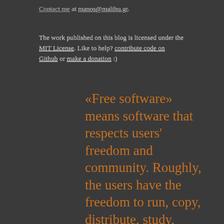Contact me at manos@malihu.gr.
The work published on this blog is licensed under the MIT License. Like to help? contribute code on Github or make a donation :)
«Free software» means software that respects users' freedom and community. Roughly, the users have the freedom to run, copy, distribute, study, change and improve the software. With these freedoms, the users (both individually and collectively) control the